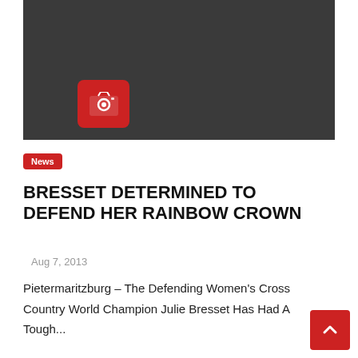[Figure (photo): Dark gray/black image placeholder with a red camera icon in the lower left area]
News
BRESSET DETERMINED TO DEFEND HER RAINBOW CROWN
Aug 7, 2013
Pietermaritzburg – The Defending Women's Cross Country World Champion Julie Bresset Has Had A Tough...